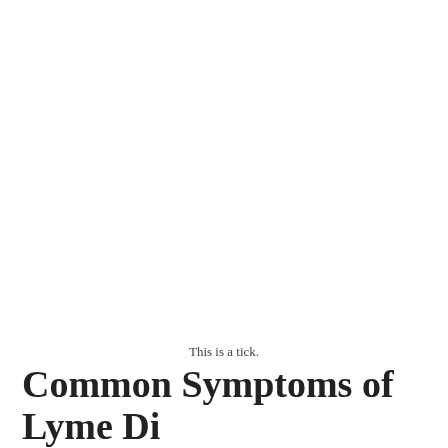[Figure (photo): Photo of a tick (image area at top, mostly white/blank in this crop)]
This is a tick.
Common Symptoms of Lyme Di…